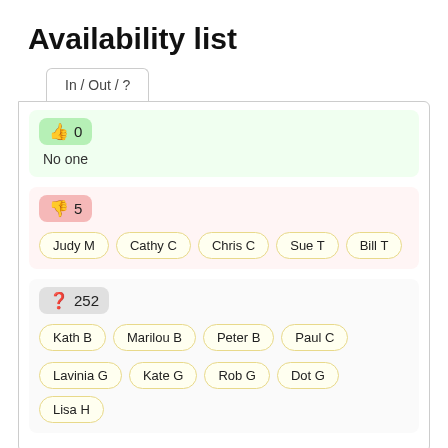Availability list
In / Out / ?
👍 0
No one
👎 5
Judy M  Cathy C  Chris C  Sue T  Bill T
❓ 252
Kath B  Marilou B  Peter B  Paul C
Lavinia G  Kate G  Rob G  Dot G  Lisa H